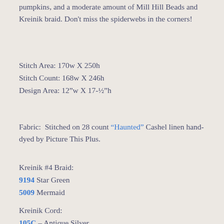pumpkins, and a moderate amount of Mill Hill Beads and Kreinik braid. Don't miss the spiderwebs in the corners!
Stitch Area: 170w X 250h
Stitch Count: 168w X 246h
Design Area: 12”w X 17-½”h
Fabric: Stitched on 28 count “Haunted” Cashel linen hand-dyed by Picture This Plus.
Kreinik #4 Braid:
9194 Star Green
5009 Mermaid
Kreinik Cord:
105C – Antique Silver